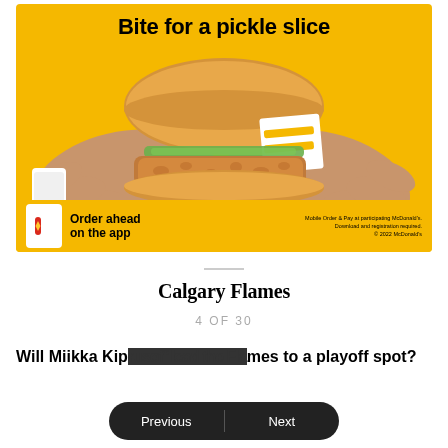[Figure (photo): McDonald's advertisement showing two hands holding a McChicken sandwich with pickles on a yellow background. Bold text reads 'Bite for a pickle slice'. Bottom shows McDonald's logo, 'Order ahead on the app' text, and fine print about Mobile Order & Pay.]
Calgary Flames
4 OF 30
Will Miikka Kipr... the Flames to a playoff spot?